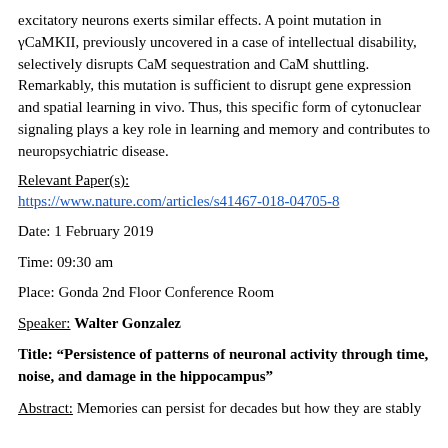excitatory neurons exerts similar effects. A point mutation in γCaMKII, previously uncovered in a case of intellectual disability, selectively disrupts CaM sequestration and CaM shuttling. Remarkably, this mutation is sufficient to disrupt gene expression and spatial learning in vivo. Thus, this specific form of cytonuclear signaling plays a key role in learning and memory and contributes to neuropsychiatric disease.
Relevant Paper(s):
https://www.nature.com/articles/s41467-018-04705-8
Date: 1 February 2019
Time: 09:30 am
Place: Gonda 2nd Floor Conference Room
Speaker: Walter Gonzalez
Title: “Persistence of patterns of neuronal activity through time, noise, and damage in the hippocampus”
Abstract: Memories can persist for decades but how they are stably